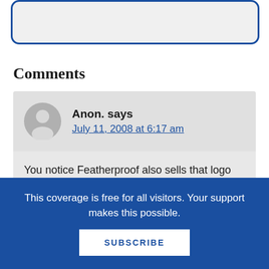[Figure (other): Rounded rectangle input box with blue border, partially visible at top of page]
Comments
Anon. says
July 11, 2008 at 6:17 am
You notice Featherproof also sells that logo on a t-shirt? They’re no fools.
This coverage is free for all visitors. Your support makes this possible.
SUBSCRIBE